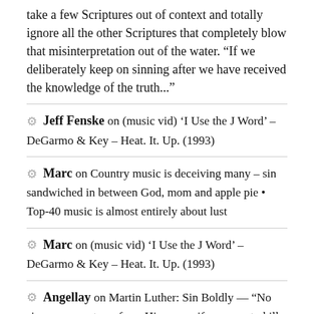take a few Scriptures out of context and totally ignore all the other Scriptures that completely blow that misinterpretation out of the water. “If we deliberately keep on sinning after we have received the knowledge of the truth...”
Jeff Fenske on (music vid) ‘I Use the J Word’ – DeGarmo & Key – Heat. It. Up. (1993)
Marc on Country music is deceiving many – sin sandwiched in between God, mom and apple pie • Top-40 music is almost entirely about lust
Marc on (music vid) ‘I Use the J Word’ – DeGarmo & Key – Heat. It. Up. (1993)
Angellay on Martin Luther: Sin Boldly — "No sin can separate us from Him, even if we were to kill or commit adultery thousands of times each day"